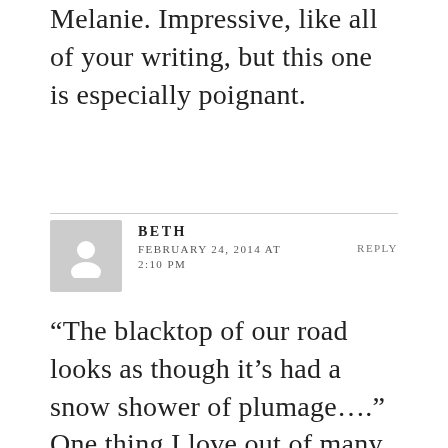Melanie. Impressive, like all of your writing, but this one is especially poignant.
[Figure (illustration): Gray avatar silhouette placeholder image for commenter Beth]
BETH FEBRUARY 24, 2014 AT 2:10 PM REPLY
“The blacktop of our road looks as though it’s had a snow shower of plumage.….” One thing I love out of many in this essay. I would appreciate a link to one of your essays